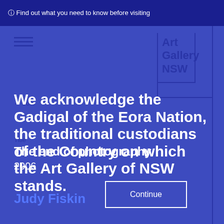ⓘ Find out what you need to know before visiting
[Figure (logo): Art Gallery NSW logo with geometric border lines]
We acknowledge the Gadigal of the Eora Nation, the traditional custodians of the Country on which the Art Gallery of NSW stands.
← Collection
Title
The end of photography
2006
Continue
Artist
Judy Fiskin